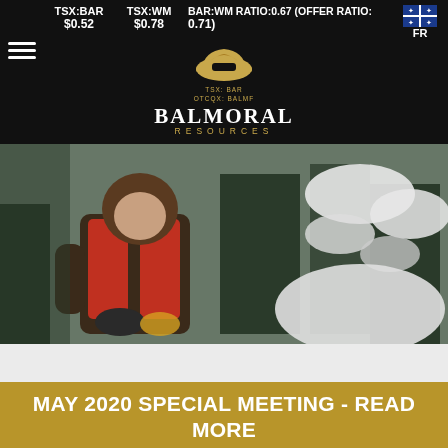TSX:BAR $0.52   TSX:WM $0.78   BAR:WM RATIO:0.67 (OFFER RATIO: 0.71)   FR
[Figure (logo): Balmoral Resources logo with mining helmet icon, TSX:BAR OTCQX:BALMF subtext]
[Figure (photo): Geologist in red vest and winter gear working outdoors in snowy forest conditions]
MAY 2020 SPECIAL MEETING - READ MORE
where it bisects the property. These outcrops are dominantly